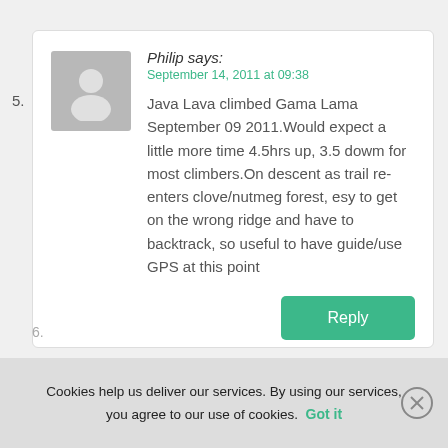5.
Philip says:
September 14, 2011 at 09:38
Java Lava climbed Gama Lama September 09 2011.Would expect a little more time 4.5hrs up, 3.5 dowm for most climbers.On descent as trail re-enters clove/nutmeg forest, esy to get on the wrong ridge and have to backtrack, so useful to have guide/use GPS at this point
Reply
6.
Cookies help us deliver our services. By using our services, you agree to our use of cookies.
Got it